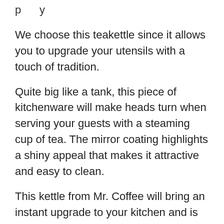p...y...
We choose this teakettle since it allows you to upgrade your utensils with a touch of tradition.
Quite big like a tank, this piece of kitchenware will make heads turn when serving your guests with a steaming cup of tea. The mirror coating highlights a shiny appeal that makes it attractive and easy to clean.
This kettle from Mr. Coffee will bring an instant upgrade to your kitchen and is made of high quality stainless steel that will endure dents, rust, or scratches.
When you compare it to cheap options, this quality appliance will heat your water first since the...